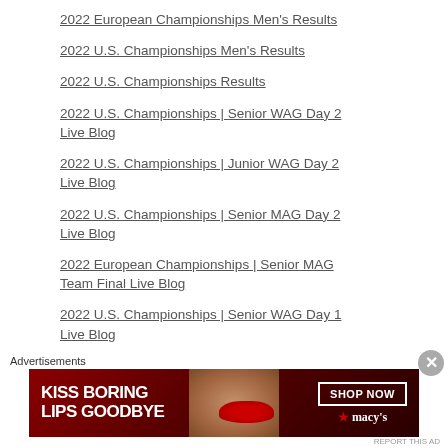2022 European Championships Men's Results
2022 U.S. Championships Men's Results
2022 U.S. Championships Results
2022 U.S. Championships | Senior WAG Day 2 Live Blog
2022 U.S. Championships | Junior WAG Day 2 Live Blog
2022 U.S. Championships | Senior MAG Day 2 Live Blog
2022 European Championships | Senior MAG Team Final Live Blog
2022 U.S. Championships | Senior WAG Day 1 Live Blog
Advertisements
[Figure (other): Advertisement banner for Macy's: KISS BORING LIPS GOODBYE with SHOP NOW button and Macy's star logo, featuring a woman's face with red lipstick]